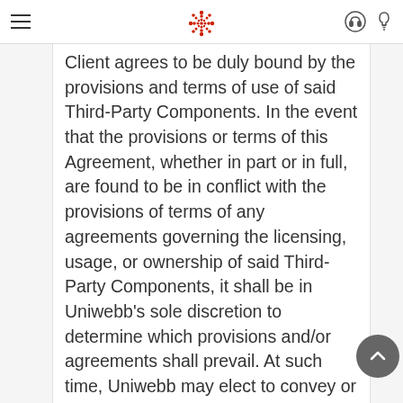Uniwebb legal agreement page header with navigation icons
Client agrees to be duly bound by the provisions and terms of use of said Third-Party Components. In the event that the provisions or terms of this Agreement, whether in part or in full, are found to be in conflict with the provisions of terms of any agreements governing the licensing, usage, or ownership of said Third-Party Components, it shall be in Uniwebb's sole discretion to determine which provisions and/or agreements shall prevail. At such time, Uniwebb may elect to convey or add certain terms and provisions to this Agreement and other agreements with Client, to bind Client to the same terms and provisions, which AttI should